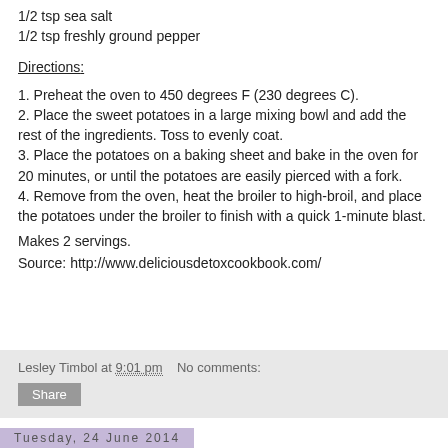1/2 tsp sea salt
1/2 tsp freshly ground pepper
Directions:
1.  Preheat the oven to 450 degrees F (230 degrees C).
2.  Place the sweet potatoes in a large mixing bowl and add the rest of the ingredients.  Toss to evenly coat.
3.  Place the potatoes on a baking sheet and bake in the oven for 20 minutes, or until the potatoes are easily pierced with a fork.
4.  Remove from the oven, heat the broiler to high-broil, and place the potatoes under the broiler to finish with a quick 1-minute blast.
Makes 2 servings.
Source:  http://www.deliciousdetoxcookbook.com/
Lesley Timbol at 9:01 pm   No comments:
Share
Tuesday, 24 June 2014